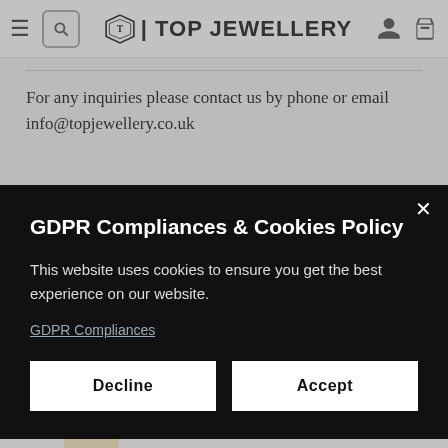TOP JEWELLERY — navigation bar with hamburger, search, logo, user, cart icons
For any inquiries please contact us by phone or email info@topjewellery.co.uk
GDPR Compliances & Cookies Policy
This website uses cookies to ensure you get the best experience on our website.
GDPR Compliances
Decline   Accept